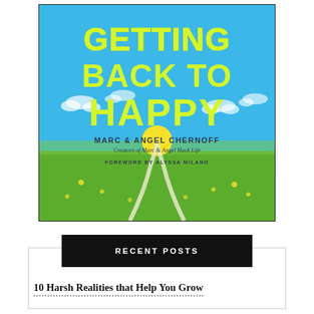[Figure (illustration): Book cover for 'Getting Back to Happy' by Marc & Angel Chernoff, Creators of Marc & Angel Hack Life, Foreword by Alyssa Milano. The cover features bright yellow-green handwritten-style text on a blue sky background with a green landscape, winding white path, and a yellow sun on the horizon.]
RECENT POSTS
10 Harsh Realities that Help You Grow